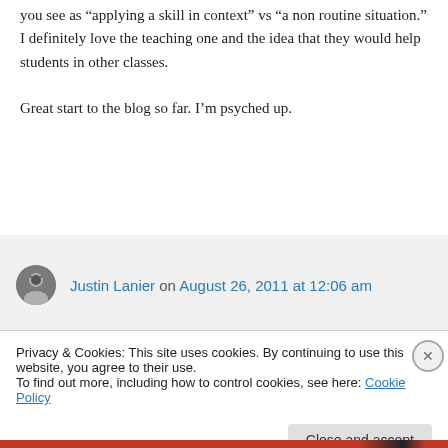you see as “applying a skill in context” vs “a non routine situation.” I definitely love the teaching one and the idea that they would help students in other classes.

Great start to the blog so far. I’m psyched up.
↳ Reply
Justin Lanier on August 26, 2011 at 12:06 am
Privacy & Cookies: This site uses cookies. By continuing to use this website, you agree to their use.
To find out more, including how to control cookies, see here: Cookie Policy
Close and accept